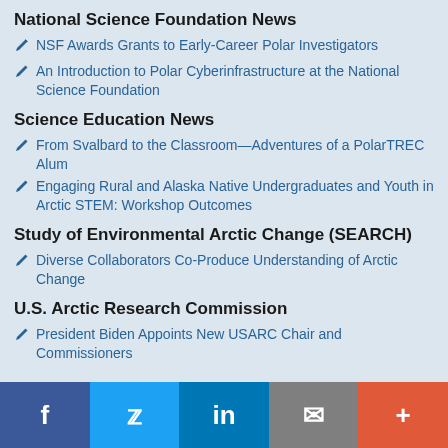National Science Foundation News
NSF Awards Grants to Early-Career Polar Investigators
An Introduction to Polar Cyberinfrastructure at the National Science Foundation
Science Education News
From Svalbard to the Classroom—Adventures of a PolarTREC Alum
Engaging Rural and Alaska Native Undergraduates and Youth in Arctic STEM: Workshop Outcomes
Study of Environmental Arctic Change (SEARCH)
Diverse Collaborators Co-Produce Understanding of Arctic Change
U.S. Arctic Research Commission
President Biden Appoints New USARC Chair and Commissioners